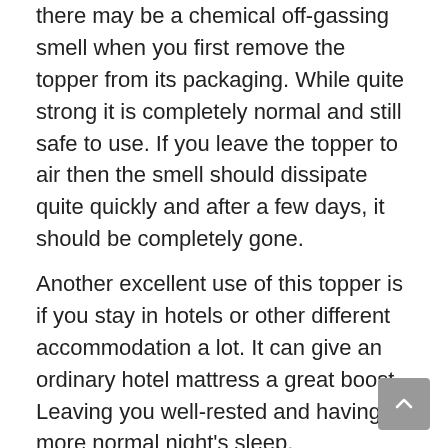there may be a chemical off-gassing smell when you first remove the topper from its packaging. While quite strong it is completely normal and still safe to use. If you leave the topper to air then the smell should dissipate quite quickly and after a few days, it should be completely gone.
Another excellent use of this topper is if you stay in hotels or other different accommodation a lot. It can give an ordinary hotel mattress a great boost. Leaving you well-rested and having a more normal night's sleep.